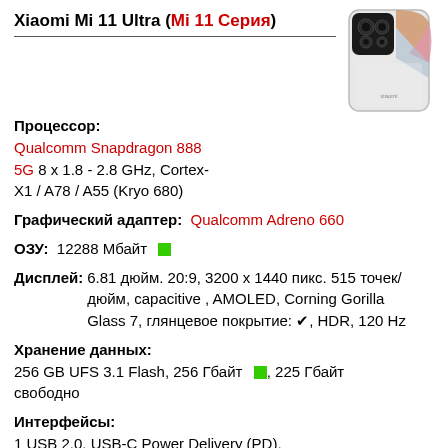Xiaomi Mi 11 Ultra (Mi 11 Серия)
[Figure (photo): Xiaomi Mi 11 Ultra smartphone back view, white color with camera module]
Процессор: Qualcomm Snapdragon 888 5G 8 x 1.8 - 2.8 GHz, Cortex-X1 / A78 / A55 (Kryo 680)
Графический адаптер: Qualcomm Adreno 660
ОЗУ: 12288 Мбайт
Дисплей: 6.81 дюйм. 20:9, 3200 x 1440 пикс. 515 точек/дюйм, capacitive , AMOLED, Corning Gorilla Glass 7, глянцевое покрытие: ✔, HDR, 120 Hz
Хранение данных: 256 GB UFS 3.1 Flash, 256 Гбайт, 225 Гбайт свободно
Интерфейсы: 1 USB 2.0, USB-C Power Delivery (PD), Аудиоразъёмы: USB-C, 1 сканер подушечки пальца, NFC, датчик освещённости, Датчики и сенсоры: accelerometer, gyro, proximity